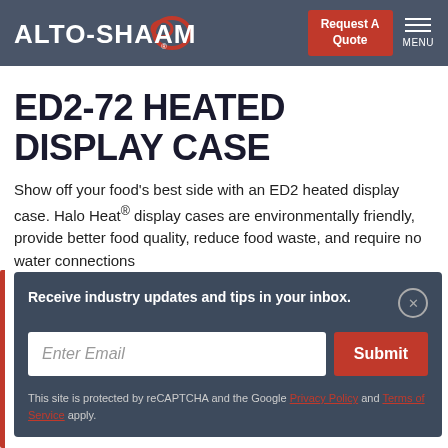ALTO-SHAAM | Request A Quote | MENU
ED2-72 HEATED DISPLAY CASE
Show off your food's best side with an ED2 heated display case. Halo Heat® display cases are environmentally friendly, provide better food quality, reduce food waste, and require no water connections
Receive industry updates and tips in your inbox.
Enter Email
Submit
This site is protected by reCAPTCHA and the Google Privacy Policy and Terms of Service apply.